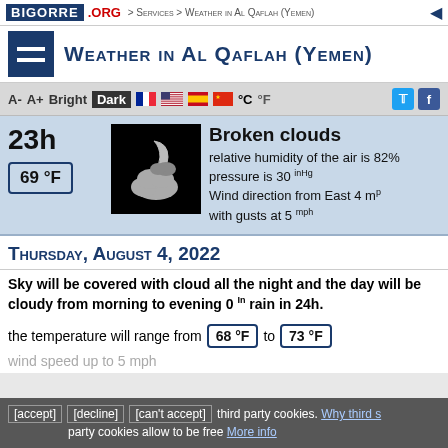BIGORRE.ORG > Services > Weather in Al Qaflah (Yemen)
Weather in Al Qaflah (Yemen)
A- A+ Bright Dark °C °F
23h 69 °F Broken clouds relative humidity of the air is 82% pressure is 30 inHg Wind direction from East 4 mph with gusts at 5 mph
Thursday, August 4, 2022
Sky will be covered with cloud all the night and the day will be cloudy from morning to evening 0 In rain in 24h.
the temperature will range from 68 °F to 73 °F
wind speed up to 5 mph
[accept] [decline] [can't accept] third party cookies. Why third party cookies allow to be free More info